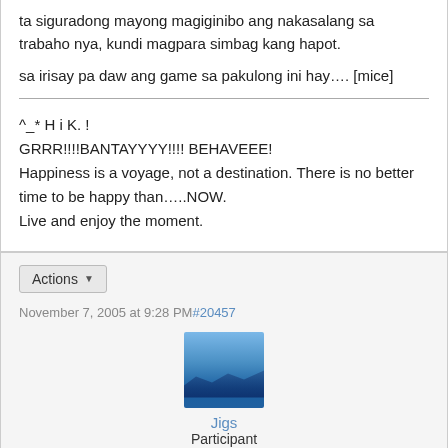ta siguradong mayong magiginibo ang nakasalang sa trabaho nya, kundi magpara simbag kang hapot.
sa irisay pa daw ang game sa pakulong ini hay…. [mice]
^_* H i K. !
GRRR!!!!BANTAYYYY!!!! BEHAVEEE!
Happiness is a voyage, not a destination. There is no better time to be happy than…..NOW.
Live and enjoy the moment.
Actions
November 7, 2005 at 9:28 PM#20457
[Figure (photo): Blue landscape avatar image showing mountains or hills in shades of blue]
Jigs
Participant
hahaha, gari ako nahalikan ah... ay mas uragon na sana